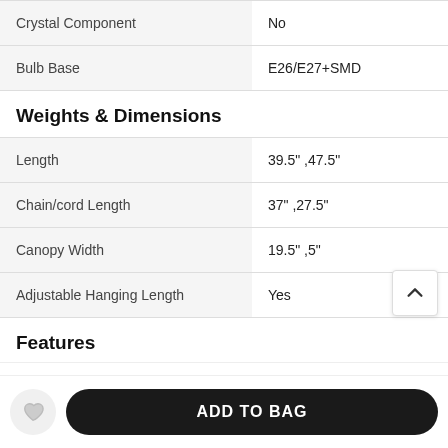|  |  |
| --- | --- |
| Crystal Component | No |
| Bulb Base | E26/E27+SMD |
Weights & Dimensions
|  |  |
| --- | --- |
| Length | 39.5" ,47.5" |
| Chain/cord Length | 37" ,27.5" |
| Canopy Width | 19.5" ,5" |
| Adjustable Hanging Length | Yes |
Features